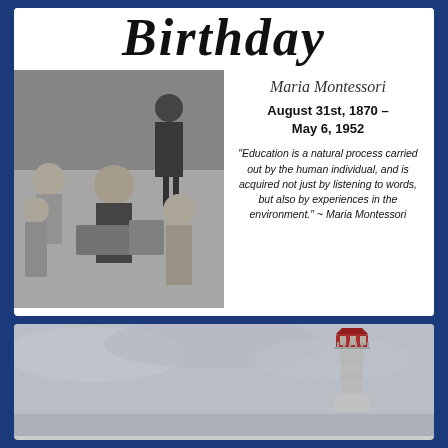Birthday
Maria Montessori
August 31st, 1870 – May 6, 1952
"Education is a natural process carried out by the human individual, and is acquired not just by listening to words, but also by experiences in the environment." ~ Maria Montessori
[Figure (photo): Black and white photograph of children gathered around, appearing to be in a classroom or outdoor learning setting, with an adult figure in the background.]
[Figure (photo): Black and white photograph of a lighthouse with a red top against a grey overcast sky.]